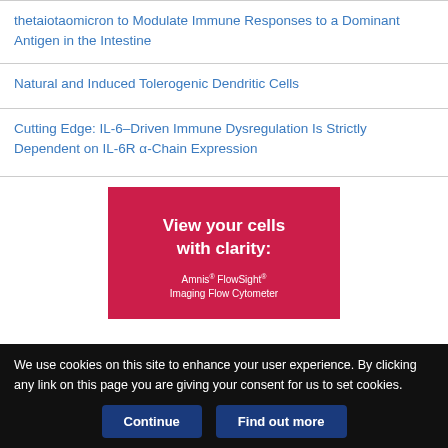thetaiotaomicron to Modulate Immune Responses to a Dominant Antigen in the Intestine
Natural and Induced Tolerogenic Dendritic Cells
Cutting Edge: IL-6–Driven Immune Dysregulation Is Strictly Dependent on IL-6R α-Chain Expression
[Figure (infographic): Red advertisement banner for Amnis FlowSight Imaging Flow Cytometer with text 'View your cells with clarity: Amnis FlowSight Imaging Flow Cytometer']
We use cookies on this site to enhance your user experience. By clicking any link on this page you are giving your consent for us to set cookies.
Continue | Find out more